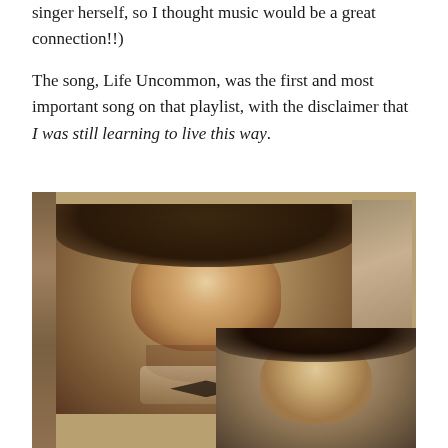singer herself, so I thought music would be a great connection!!)
The song, Life Uncommon, was the first and most important song on that playlist, with the disclaimer that I was still learning to live this way.
[Figure (photo): A collage of two vintage sepia-toned portrait photographs. The larger photo shows a smiling woman with curly hair wearing a dark outfit with a white collar and bow tie. The smaller photo in the bottom right corner shows another woman with dark curly hair.]